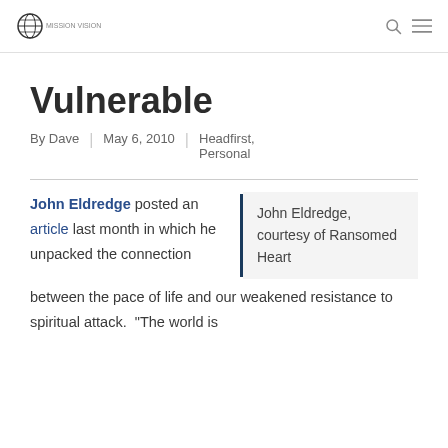Mission Vision logo | search icon | menu icon
Vulnerable
By Dave | May 6, 2010 | Headfirst, Personal
John Eldredge posted an article last month in which he unpacked the connection between the pace of life and our weakened resistance to spiritual attack. “The world is
John Eldredge, courtesy of Ransomed Heart